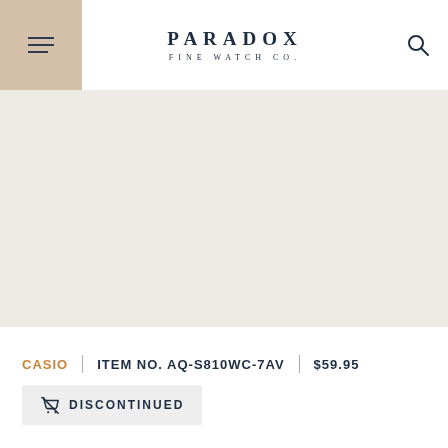PARADOX FINE WATCH CO.
[Figure (photo): Product image area with light beige background, no watch visible]
CASIO | ITEM NO. AQ-S810WC-7AV | $59.95
DISCONTINUED